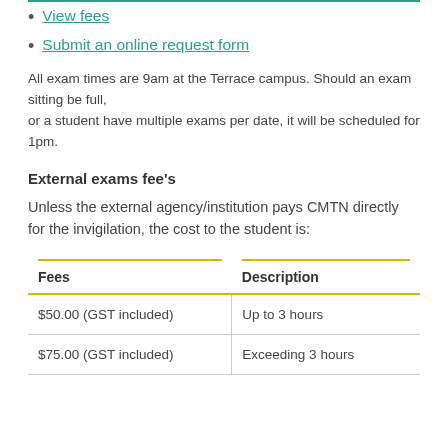View fees
Submit an online request form
All exam times are 9am at the Terrace campus. Should an exam sitting be full, or a student have multiple exams per date, it will be scheduled for 1pm.
External exams fee's
Unless the external agency/institution pays CMTN directly for the invigilation, the cost to the student is:
| Fees | Description |
| --- | --- |
| $50.00 (GST included) | Up to 3 hours |
| $75.00 (GST included) | Exceeding 3 hours |